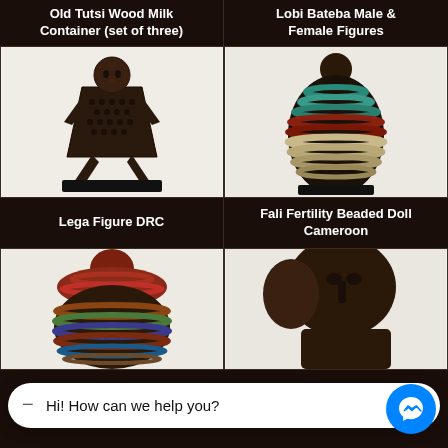Old Tutsi Wood Milk Container (set of three)
Lobi Bateba Male & Female Figures
[Figure (photo): Lega Figure DRC - a dark wooden anthropomorphic figure with perforated torso, outstretched arms and legs, mounted on a black base]
[Figure (photo): Fali Fertility Beaded Doll Cameroon - a round beaded object with teal, red, and white beads in horizontal rows, with a dark rounded top, on a black base]
Lega Figure DRC
Fali Fertility Beaded Doll Cameroon
[Figure (photo): Partially visible beaded doll or container with red and multicolor beads, partially obscured by chat overlay]
[Figure (photo): Partially visible dark African wooden figure, partially obscured by chat overlay]
Hi! How can we help you?